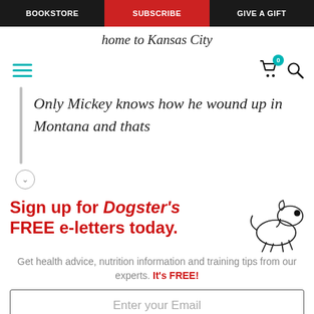BOOKSTORE | SUBSCRIBE | GIVE A GIFT
home to Kansas City
Only Mickey knows how he wound up in Montana and thats
[Figure (infographic): Sign up for Dogster's FREE e-letters today. Get health advice, nutrition information and training tips from our experts. It's FREE! Email input field and YES! SIGN ME UP button. Cartoon dog illustration on the right.]